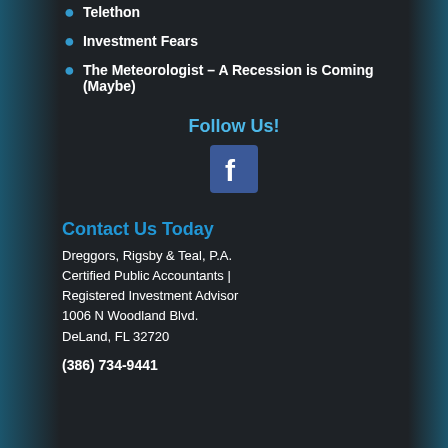Telethon
Investment Fears
The Meteorologist – A Recession is Coming (Maybe)
Follow Us!
[Figure (logo): Facebook logo icon, square blue background with white 'f' letter]
Contact Us Today
Dreggors, Rigsby & Teal, P.A.
Certified Public Accountants | Registered Investment Advisor
1006 N Woodland Blvd.
DeLand, FL 32720
(386) 734-9441